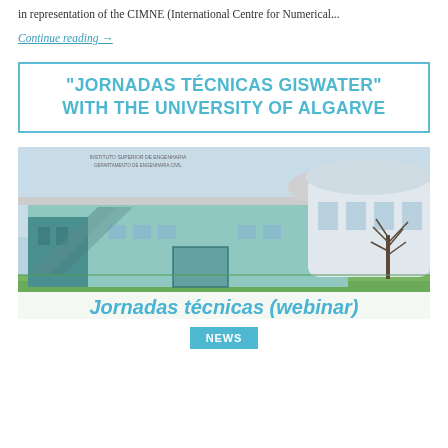in representation of the CIMNE (International Centre for Numerical...
Continue reading →
“JORNADAS TÉCNICAS GISWATER” WITH THE UNIVERSITY OF ALGARVE
[Figure (photo): Photo of a modern university building with green lawn and bare tree, with overlay text 'Jornadas técnicas (webinar)'. Small text at top reads 'INSTITUTO SUPERIOR DE ENGENHARIA / DEPARTAMENTO DE ENGENHARIA CIVIL'.]
Jornadas técnicas (webinar)
NEWS